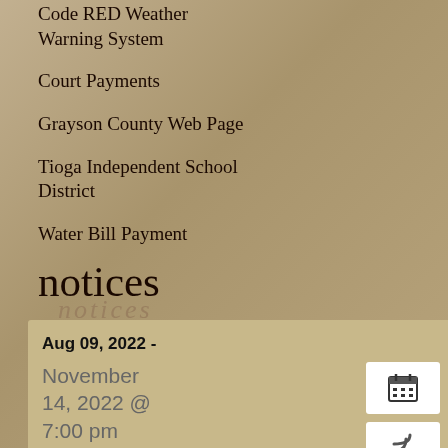Code RED Weather Warning System
Court Payments
Grayson County Web Page
Tioga Independent School District
Water Bill Payment
notices
[Figure (photo): Wooden plank surface texture, partially visible at top right of page]
Comments are closed.
Aug 09, 2022 -
November 14, 2022 @ 7:00 pm
The City Council of the City of Tioga will hold a